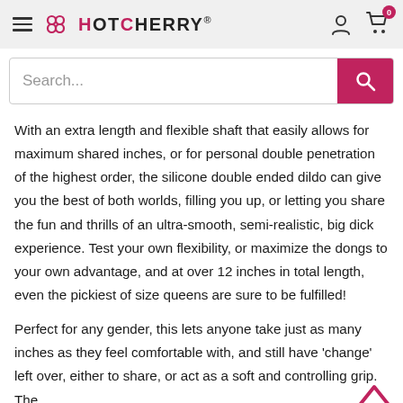HotCherry® — Navigation header with logo, hamburger menu, user icon, and cart (0)
Search...
With an extra length and flexible shaft that easily allows for maximum shared inches, or for personal double penetration of the highest order, the silicone double ended dildo can give you the best of both worlds, filling you up, or letting you share the fun and thrills of an ultra-smooth, semi-realistic, big dick experience. Test your own flexibility, or maximize the dongs to your own advantage, and at over 12 inches in total length, even the pickiest of size queens are sure to be fulfilled!
Perfect for any gender, this lets anyone take just as many inches as they feel comfortable with, and still have 'change' left over, either to share, or act as a soft and controlling grip. The